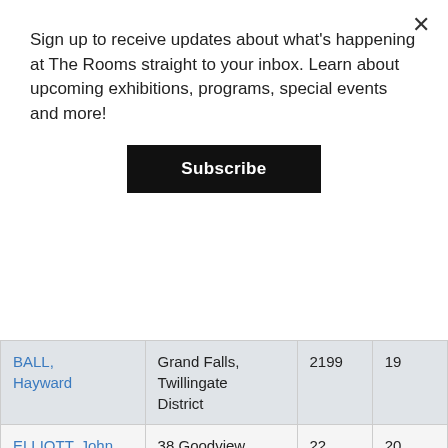Sign up to receive updates about what's happening at The Rooms straight to your inbox. Learn about upcoming exhibitions, programs, special events and more!
Subscribe
| Name | Address | Number | Number2 |
| --- | --- | --- | --- |
| BALL, Hayward | Grand Falls, Twillingate District | 2199 | 19 |
| ELLIOTT, John | 38 Goodview Street, St. John's | 22 | 20 |
| LESEMAN, Roy Bennett | 55 Patrick Street, St. John's | 220 | 21 |
| EVOY, | Harricott, | 2200 | 21 |